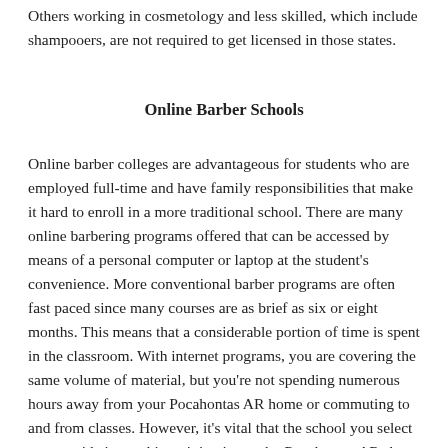Others working in cosmetology and less skilled, which include shampooers, are not required to get licensed in those states.
Online Barber Schools
Online barber colleges are advantageous for students who are employed full-time and have family responsibilities that make it hard to enroll in a more traditional school. There are many online barbering programs offered that can be accessed by means of a personal computer or laptop at the student's convenience. More conventional barber programs are often fast paced since many courses are as brief as six or eight months. This means that a considerable portion of time is spent in the classroom. With internet programs, you are covering the same volume of material, but you're not spending numerous hours away from your Pocahontas AR home or commuting to and from classes. However, it's vital that the school you select can provide internship training in nearby Pocahontas AR shops or salons to ensure that you